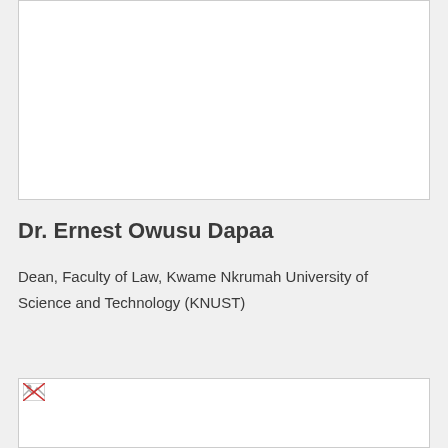[Figure (photo): Portrait photo placeholder (white box with border)]
Dr. Ernest Owusu Dapaa
Dean, Faculty of Law, Kwame Nkrumah University of Science and Technology (KNUST)
[Figure (photo): Second portrait photo placeholder with broken image icon]